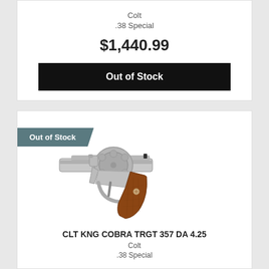Colt
.38 Special
$1,440.99
Out of Stock
[Figure (photo): Colt King Cobra Target revolver with stainless steel finish and wood grip, shown with Out of Stock badge]
CLT KNG COBRA TRGT 357 DA 4.25
Colt
.38 Special